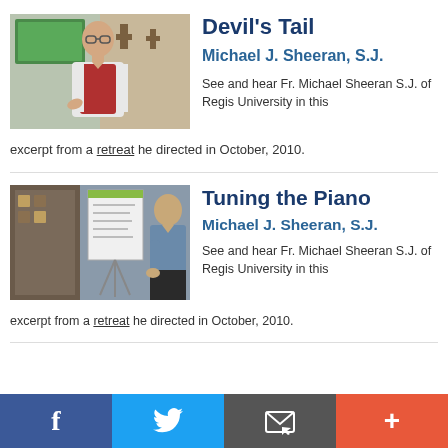Devil's Tail
Michael J. Sheeran, S.J.
[Figure (photo): Photo of a man in a red vest standing in front of a wall with decorative crosses, appearing to be giving a presentation.]
See and hear Fr. Michael Sheeran S.J. of Regis University in this excerpt from a retreat he directed in October, 2010.
Tuning the Piano
Michael J. Sheeran, S.J.
[Figure (photo): Photo of an older man in a blue shirt standing next to a flip chart with writing, in a room with patterned wall hangings.]
See and hear Fr. Michael Sheeran S.J. of Regis University in this excerpt from a retreat he directed in October, 2010.